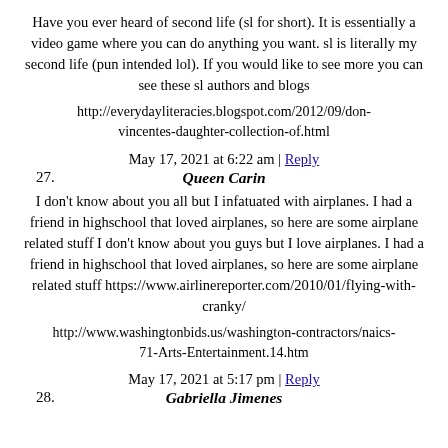Have you ever heard of second life (sl for short). It is essentially a video game where you can do anything you want. sl is literally my second life (pun intended lol). If you would like to see more you can see these sl authors and blogs
http://everydayliteracies.blogspot.com/2012/09/don-vincentes-daughter-collection-of.html
May 17, 2021 at 6:22 am | Reply
27.   Queen Carin
I don't know about you all but I infatuated with airplanes. I had a friend in highschool that loved airplanes, so here are some airplane related stuff I don't know about you guys but I love airplanes. I had a friend in highschool that loved airplanes, so here are some airplane related stuff https://www.airlinereporter.com/2010/01/flying-with-cranky/
http://www.washingtonbids.us/washington-contractors/naics-71-Arts-Entertainment.14.htm
May 17, 2021 at 5:17 pm | Reply
28.   Gabriella Jimenes